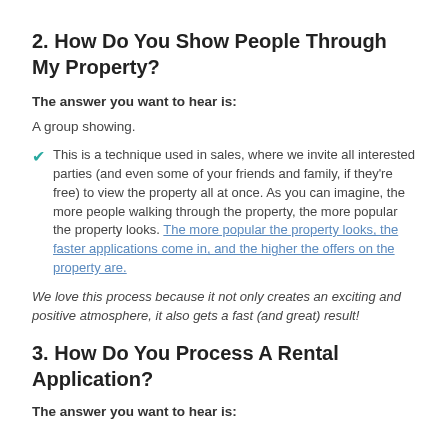2. How Do You Show People Through My Property?
The answer you want to hear is:
A group showing.
This is a technique used in sales, where we invite all interested parties (and even some of your friends and family, if they're free) to view the property all at once. As you can imagine, the more people walking through the property, the more popular the property looks. The more popular the property looks, the faster applications come in, and the higher the offers on the property are.
We love this process because it not only creates an exciting and positive atmosphere, it also gets a fast (and great) result!
3. How Do You Process A Rental Application?
The answer you want to hear is: